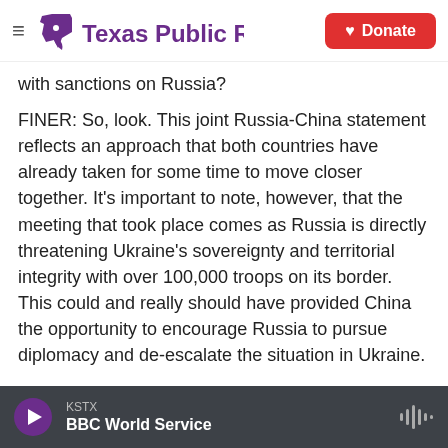Texas Public Radio | Donate
with sanctions on Russia?
FINER: So, look. This joint Russia-China statement reflects an approach that both countries have already taken for some time to move closer together. It's important to note, however, that the meeting that took place comes as Russia is directly threatening Ukraine's sovereignty and territorial integrity with over 100,000 troops on its border. This could and really should have provided China the opportunity to encourage Russia to pursue diplomacy and de-escalate the situation in Ukraine.
KSTX | BBC World Service